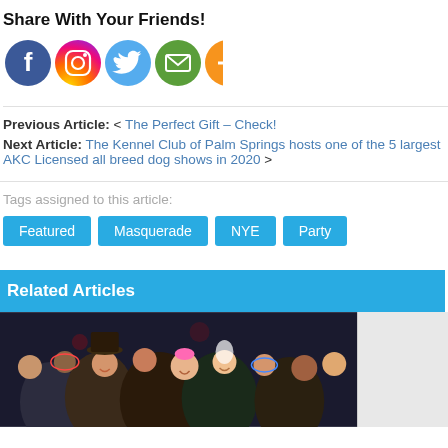Share With Your Friends!
[Figure (illustration): Social media sharing icons: Facebook (blue circle), Instagram (gradient circle), Twitter (light blue circle), Email (green circle), More/Plus (orange circle)]
Previous Article: < The Perfect Gift – Check!
Next Article: The Kennel Club of Palm Springs hosts one of the 5 largest AKC Licensed all breed dog shows in 2020 >
Tags assigned to this article:
Featured
Masquerade
NYE
Party
Related Articles
[Figure (photo): Crowd of people at a masquerade/costume party, many wearing masks and costumes, smiling at camera]